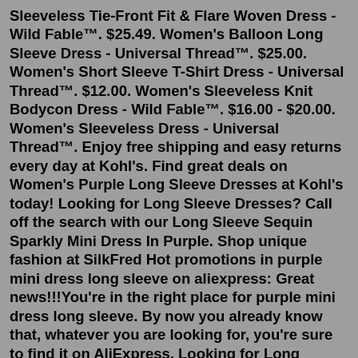Sleeveless Tie-Front Fit & Flare Woven Dress - Wild Fable™. $25.49. Women's Balloon Long Sleeve Dress - Universal Thread™. $25.00. Women's Short Sleeve T-Shirt Dress - Universal Thread™. $12.00. Women's Sleeveless Knit Bodycon Dress - Wild Fable™. $16.00 - $20.00. Women's Sleeveless Dress - Universal Thread™. Enjoy free shipping and easy returns every day at Kohl's. Find great deals on Women's Purple Long Sleeve Dresses at Kohl's today! Looking for Long Sleeve Dresses? Call off the search with our Long Sleeve Sequin Sparkly Mini Dress In Purple. Shop unique fashion at SilkFred Hot promotions in purple mini dress long sleeve on aliexpress: Great news!!!You're in the right place for purple mini dress long sleeve. By now you already know that, whatever you are looking for, you're sure to find it on AliExpress. Looking for Long Sleeve Dresses? Call off the search with our Long Sleeve Sequin Sparkly Mini Dress In Purple. Shop unique fashion at SilkFred Looking for Long Sleeve Dresses? Call off the search